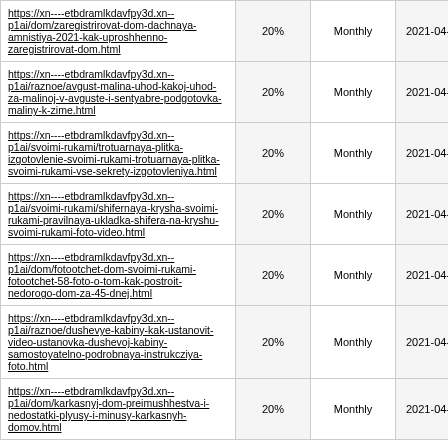| https://xn----etbdramlkdavfpy3d.xn--p1ai/dom/zaregistrirovat-dom-dachnaya-amnistiya-2021-kak-uproshhenno-zaregistrirovat-dom.html | 20% | Monthly | 2021-04-11 00:14 |
| https://xn----etbdramlkdavfpy3d.xn--p1ai/raznoe/avgust-malina-uhod-kakoj-uhod-za-malinoj-v-avguste-i-sentyabre-podgotovka-maliny-k-zime.html | 20% | Monthly | 2021-04-10 23:46 |
| https://xn----etbdramlkdavfpy3d.xn--p1ai/svoimi-rukami/trotuarnaya-plitka-izgotovlenie-svoimi-rukami-trotuarnaya-plitka-svoimi-rukami-vse-sekrety-izgotovleniya.html | 20% | Monthly | 2021-04-10 23:37 |
| https://xn----etbdramlkdavfpy3d.xn--p1ai/svoimi-rukami/shifernaya-krysha-svoimi-rukami-pravilnaya-ukladka-shifera-na-kryshu-svoimi-rukami-foto-video.html | 20% | Monthly | 2021-04-10 23:22 |
| https://xn----etbdramlkdavfpy3d.xn--p1ai/dom/fotootchet-dom-svoimi-rukami-fotootchet-58-foto-o-tom-kak-postroit-nedorogo-dom-za-45-dnej.html | 20% | Monthly | 2021-04-10 23:04 |
| https://xn----etbdramlkdavfpy3d.xn--p1ai/raznoe/dushevye-kabiny-kak-ustanovit-video-ustanovka-dushevoj-kabiny-samostoyatelno-podrobnaya-instrukcziya-foto.html | 20% | Monthly | 2021-04-10 22:48 |
| https://xn----etbdramlkdavfpy3d.xn--p1ai/dom/karkasnyj-dom-preimushhestva-i-nedostatki-plyusy-i-minusy-karkasnyh-domov.html | 20% | Monthly | 2021-04-10 22:37 |